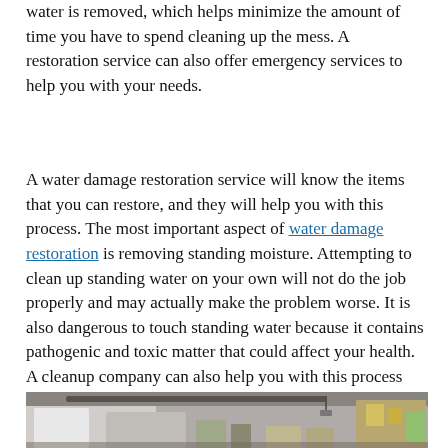water is removed, which helps minimize the amount of time you have to spend cleaning up the mess. A restoration service can also offer emergency services to help you with your needs.
A water damage restoration service will know the items that you can restore, and they will help you with this process. The most important aspect of water damage restoration is removing standing moisture. Attempting to clean up standing water on your own will not do the job properly and may actually make the problem worse. It is also dangerous to touch standing water because it contains pathogenic and toxic matter that could affect your health. A cleanup company can also help you with this process and make the process as quick as possible.
[Figure (photo): Interior photo of a utility/storage room or basement with pipes, equipment, shelving with various items and containers visible on the right side.]